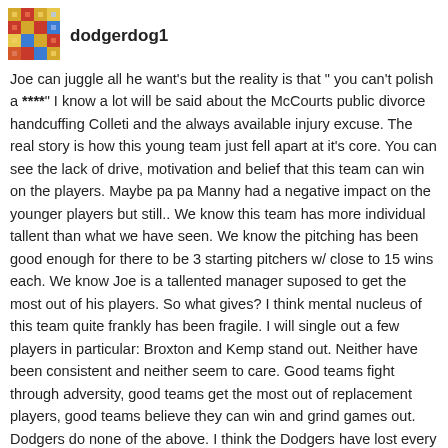[Figure (illustration): Small colorful avatar/icon image for user dodgerdog1]
dodgerdog1
Joe can juggle all he want's but the reality is that " you can't polish a ****" I know a lot will be said about the McCourts public divorce handcuffing Colleti and the always available injury excuse. The real story is how this young team just fell apart at it's core. You can see the lack of drive, motivation and belief that this team can win on the players. Maybe pa pa Manny had a negative impact on the younger players but still.. We know this team has more individual tallent than what we have seen. We know the pitching has been good enough for there to be 3 starting pitchers w/ close to 15 wins each. We know Joe is a tallented manager suposed to get the most out of his players. So what gives? I think mental nucleus of this team quite frankly has been fragile. I will single out a few players in particular: Broxton and Kemp stand out. Neither have been consistent and neither seem to care. Good teams fight through adversity, good teams get the most out of replacement players, good teams believe they can win and grind games out. Dodgers do none of the above. I think the Dodgers have lost every important game possible in the second half. Every gift we have been given in the form of struggling teams or favorable schedule has been squandered including the Pad's 10 game losing streak down the stretch. They sure got healthy on Dodger blue.. The offense has been pathetically